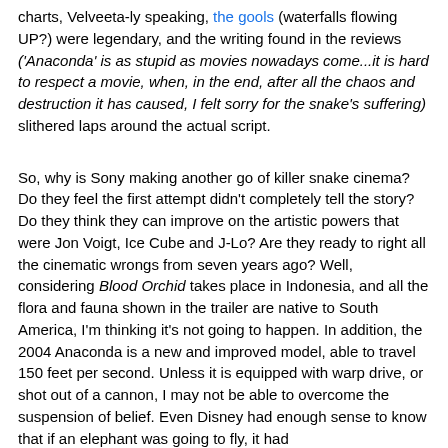charts, Velveeta-ly speaking, the gools (waterfalls flowing UP?) were legendary, and the writing found in the reviews ('Anaconda' is as stupid as movies nowadays come...it is hard to respect a movie, when, in the end, after all the chaos and destruction it has caused, I felt sorry for the snake's suffering) slithered laps around the actual script.
So, why is Sony making another go of killer snake cinema? Do they feel the first attempt didn't completely tell the story? Do they think they can improve on the artistic powers that were Jon Voigt, Ice Cube and J-Lo? Are they ready to right all the cinematic wrongs from seven years ago? Well, considering Blood Orchid takes place in Indonesia, and all the flora and fauna shown in the trailer are native to South America, I'm thinking it's not going to happen. In addition, the 2004 Anaconda is a new and improved model, able to travel 150 feet per second. Unless it is equipped with warp drive, or shot out of a cannon, I may not be able to overcome the suspension of belief. Even Disney had enough sense to know that if an elephant was going to fly, it had